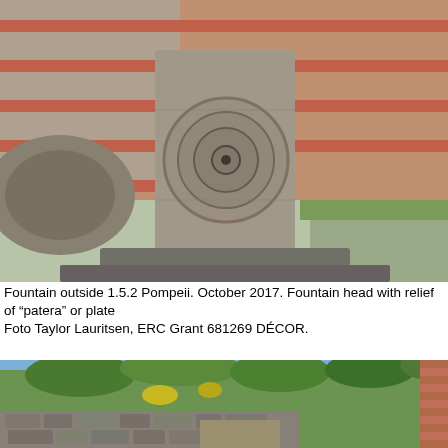[Figure (photo): Close-up photograph of an ancient stone fountain head in Pompeii, showing a carved circular relief (patera or plate) on a rectangular stone block. Behind it is a brick wall with alternating red brick and stone courses, and in the background is an open green area with ancient ruins visible.]
Fountain outside 1.5.2 Pompeii. October 2017. Fountain head with relief of “patera” or plate
Foto Taylor Lauritsen, ERC Grant 681269 DÉCOR.
[Figure (photo): Outdoor photograph of an overgrown hillside with a dry-stone retaining wall in the foreground, green trees and shrubs on the slope, and a blue sky. Part of a brick structure is visible on the right edge.]